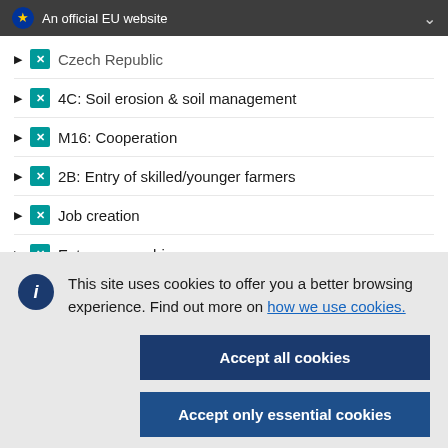An official EU website
Czech Republic
4C: Soil erosion & soil management
M16: Cooperation
2B: Entry of skilled/younger farmers
Job creation
Entrepreneurship
This site uses cookies to offer you a better browsing experience. Find out more on how we use cookies.